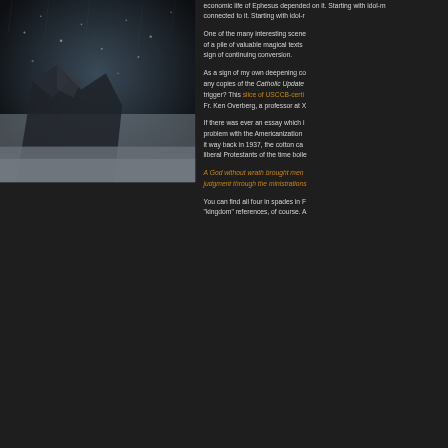[Figure (photo): Dark atmospheric photo of what appears to be a rocky or mountainous form with rain or water droplets visible on a dark background]
economic life of Ephesus depended on it. Starting with idol-r connected to it. Starting with idol-r
One of the many interesting scenes involves the burning of a pile of valuable magical texts sign of continuing conversion.
As a sign of my own deepening conversion, I burned any copies of the Catholic Update trigger? This slice of USCCB-certified Fr. Ken Overberg, a professor at X
If there was ever an essay which illustrates the problem with the Americanization it way back in 1937, the cotton ca liberal Protestants of the time boile
A God without wrath brought men judgment through the ministrations
You can find all four in spades in F "kingdom" references, of course. A